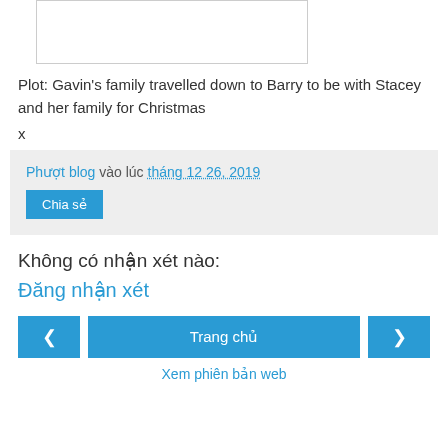[Figure (other): Partial image placeholder at top of page]
Plot: Gavin's family travelled down to Barry to be with Stacey and her family for Christmas
x
Phượt blog vào lúc tháng 12 26, 2019
Chia sẻ
Không có nhận xét nào:
Đăng nhận xét
Trang chủ
Xem phiên bản web